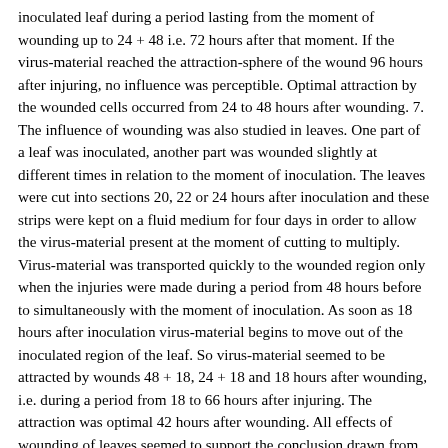inoculated leaf during a period lasting from the moment of wounding up to 24 + 48 i.e. 72 hours after that moment. If the virus-material reached the attraction-sphere of the wound 96 hours after injuring, no influence was perceptible. Optimal attraction by the wounded cells occurred from 24 to 48 hours after wounding. 7. The influence of wounding was also studied in leaves. One part of a leaf was inoculated, another part was wounded slightly at different times in relation to the moment of inoculation. The leaves were cut into sections 20, 22 or 24 hours after inoculation and these strips were kept on a fluid medium for four days in order to allow the virus-material present at the moment of cutting to multiply. Virus-material was transported quickly to the wounded region only when the injuries were made during a period from 48 hours before to simultaneously with the moment of inoculation. As soon as 18 hours after inoculation virus-material begins to move out of the inoculated region of the leaf. So virus-material seemed to be attracted by wounds 48 + 18, 24 + 18 and 18 hours after wounding, i.e. during a period from 18 to 66 hours after injuring. The attraction was optimal 42 hours after wounding. All effects of wounding of leaves seemed to support the conclusion drawn from the results of experiments with wounded stems of plants. 8. According to Braun wound-activity occurs in a period from 24 to 96 hours with a maximum within 48 to 72 hours after wounding. This